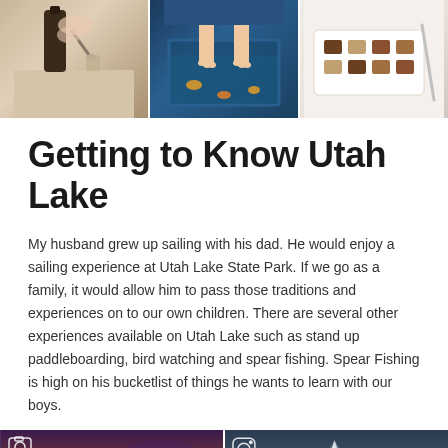[Figure (photo): Three photos in a row at top: person holding dark bottle (aromatherapy/beauty), people with feet in aquarium fish tank, tray of chocolates or desserts on white surface]
Getting to Know Utah Lake
My husband grew up sailing with his dad. He would enjoy a sailing experience at Utah Lake State Park. If we go as a family, it would allow him to pass those traditions and experiences on to our own children. There are several other experiences available on Utah Lake such as stand up paddleboarding, bird watching and spear fishing. Spear Fishing is high on his bucketlist of things he wants to learn with our boys.
[Figure (photo): Two photos at bottom: left shows sailboat on lake at sunset/dusk with purple sky and camera icon overlay; right shows mountain landscape with tent and Instagram icon overlay]